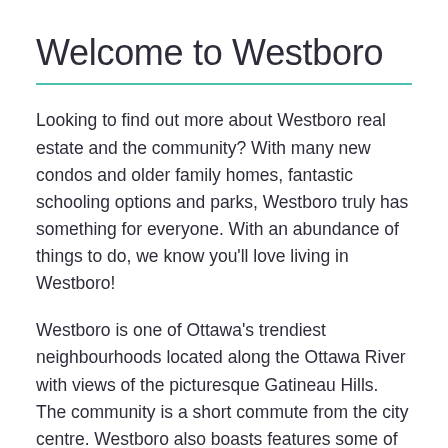Welcome to Westboro
Looking to find out more about Westboro real estate and the community? With many new condos and older family homes, fantastic schooling options and parks, Westboro truly has something for everyone. With an abundance of things to do, we know you’ll love living in Westboro!
Westboro is one of Ottawa’s trendiest neighbourhoods located along the Ottawa River with views of the picturesque Gatineau Hills. The community is a short commute from the city centre. Westboro also boasts features some of